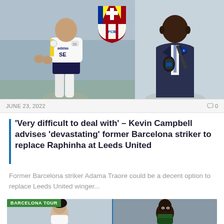[Figure (photo): Composite photo: Leeds United player in white kit on left, FC Barcelona crest in center top, TV commentator/pundit with microphone on right]
JUNE 23, 2022
0
'Very difficult to deal with' – Kevin Campbell advises 'devastating' former Barcelona striker to replace Raphinha at Leeds United
Former Barcelona striker Adama Traore could be a decent option to replace Leeds United winger...
[Figure (photo): Bottom card with 'BARCELONA TOUR' green tag — two football players side by side, divided by blue line]